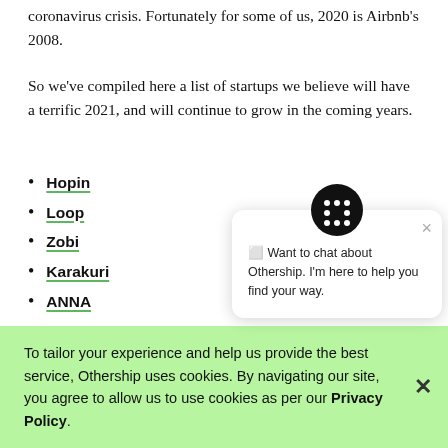coronavirus crisis. Fortunately for some of us, 2020 is Airbnb's 2008.
So we've compiled here a list of startups we believe will have a terrific 2021, and will continue to grow in the coming years.
Hopin
Loop
Zobi
Karakuri
ANNA
[Figure (screenshot): Chat widget with Othership logo (black circle with dots), close button (×), and message: 'Want to chat about Othership. I'm here to help you find your way.']
To tailor your experience and help us provide the best service, Othership uses cookies. By navigating our site, you agree to allow us to use cookies as per our Privacy Policy.